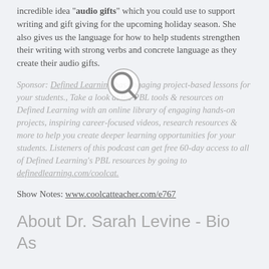incredible idea "audio gifts" which you could use to support writing and gift giving for the upcoming holiday season. She also gives us the language for how to help students strengthen their writing with strong verbs and concrete language as they create their audio gifts.
Sponsor: Defined Learning has engaging project-based lessons for your students., Take a look at the PBL tools & resources on Defined Learning with an online library of engaging hands-on projects, inspiring career-focused videos, research resources & more to help you create deeper learning opportunities for your students. Listeners of this podcast can get free 60-day access to all of Defined Learning's PBL resources by going to definedlearning.com/coolcat.
Show Notes: www.coolcatteacher.com/e767
About Dr. Sarah Levine - Bio As